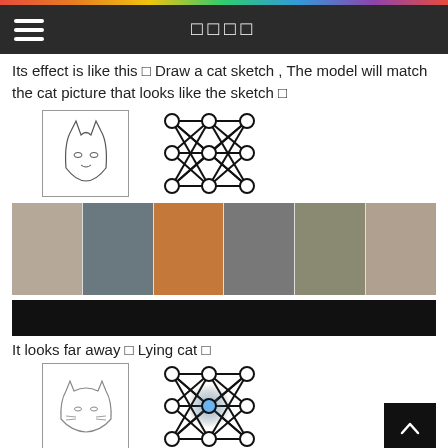□□□□
Its effect is like this □ Draw a cat sketch , The model will match the cat picture that looks like the sketch □
[Figure (illustration): A cat sketch in a bordered box on the left, and a neural network diagram on the right]
[Figure (photo): A row of six cat photographs in various colors and poses]
[Figure (other): A black bar (redacted/dark content area)]
It looks far away □ Lying cat □
[Figure (illustration): A lying cat sketch in a bordered box on the left, and a neural network diagram (with blue highlight in center) on the right, and a back-to-top button on the far right]
[Figure (photo): A row of cat photographs at the bottom of the page]